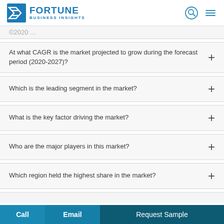FORTUNE BUSINESS INSIGHTS
At what CAGR is the market projected to grow during the forecast period (2020-2027)?
Which is the leading segment in the market?
What is the key factor driving the market?
Who are the major players in this market?
Which region held the highest share in the market?
Call  Email  Request Sample